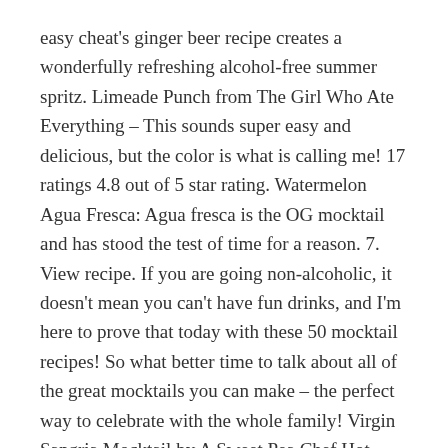easy cheat's ginger beer recipe creates a wonderfully refreshing alcohol-free summer spritz. Limeade Punch from The Girl Who Ate Everything – This sounds super easy and delicious, but the color is what is calling me! 17 ratings 4.8 out of 5 star rating. Watermelon Agua Fresca: Agua fresca is the OG mocktail and has stood the test of time for a reason. 7. View recipe. If you are going non-alcoholic, it doesn't mean you can't have fun drinks, and I'm here to prove that today with these 50 mocktail recipes! So what better time to talk about all of the great mocktails you can make – the perfect way to celebrate with the whole family! Virgin Sangria Mocktail by A Sweet Pea Chef Hot Apple Cider from Taste and Tell – Apple cider, citrus juice and spices make up this drink that will warm you up from the inside out. DESIblitz takes a look at some popular mocktail recipes that are